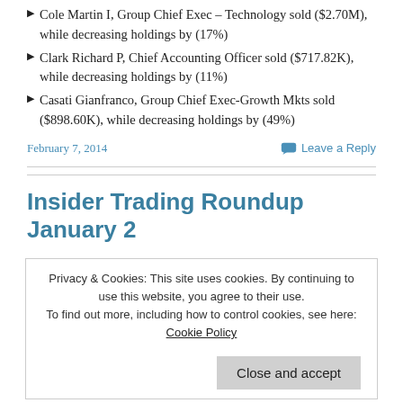Cole Martin I, Group Chief Exec – Technology sold ($2.70M), while decreasing holdings by (17%)
Clark Richard P, Chief Accounting Officer sold ($717.82K), while decreasing holdings by (11%)
Casati Gianfranco, Group Chief Exec-Growth Mkts sold ($898.60K), while decreasing holdings by (49%)
February 7, 2014
Leave a Reply
Insider Trading Roundup January 2
Privacy & Cookies: This site uses cookies. By continuing to use this website, you agree to their use. To find out more, including how to control cookies, see here: Cookie Policy
Close and accept